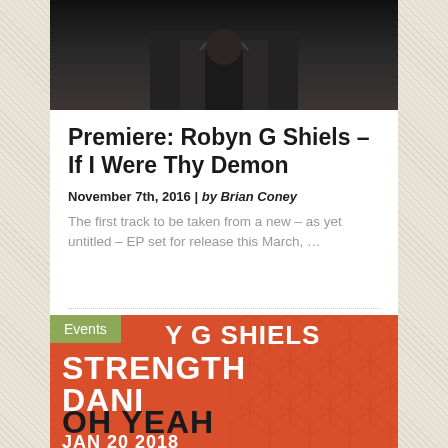[Figure (photo): Dark photograph of a person outdoors, cropped at top of page]
Premiere: Robyn G Shiels – If I Were Thy Demon
November 7th, 2016 | by Brian Coney
The first track to be taken from a new – as yet untitled – EP set for release this March, …
[Figure (other): Events promotional image with red background and geometric pattern. Text: Y G SHIELS / STRENGTH / DANI / OH YEAH / JAN 20 2018. Events badge in green.]